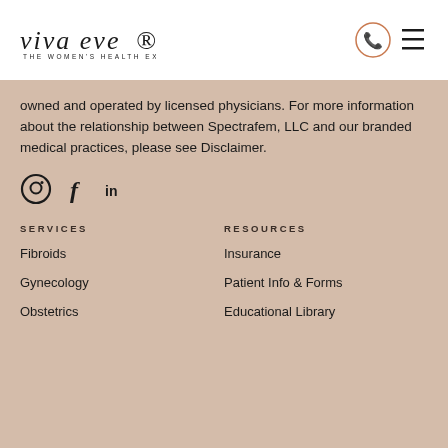[Figure (logo): Viva Eve logo with italic text 'viva eve' and tagline 'THE WOMEN'S HEALTH EXPERTS' below]
[Figure (other): Phone icon in orange circle and hamburger menu icon]
owned and operated by licensed physicians. For more information about the relationship between Spectrafem, LLC and our branded medical practices, please see Disclaimer.
[Figure (other): Social media icons: Instagram (circle icon), Facebook (f), LinkedIn (in)]
SERVICES
RESOURCES
Fibroids
Insurance
Gynecology
Patient Info & Forms
Obstetrics
Educational Library